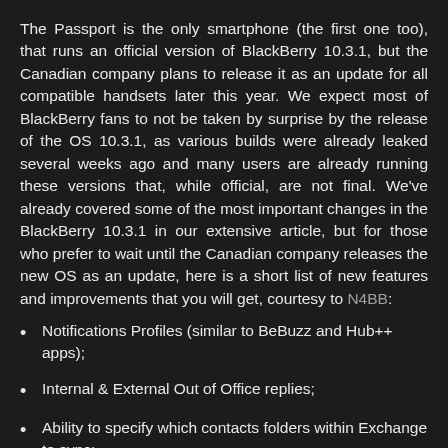The Passport is the only smartphone (the first one too), that runs an official version of BlackBerry 10.3.1, but the Canadian company plans to release it as an update for all compatible handsets later this year. We expect most of BlackBerry fans to not be taken by surprise by the release of the OS 10.3.1, as various builds were already leaked several weeks ago and many users are already running these versions that, while official, are not final. We've already covered some of the most important changes in the BlackBerry 10.3.1 in our extensive article, but for those who prefer to wait until the Canadian company releases the new OS as an update, here is a short list of new features and improvements that you will get, courtesy to N4BB:
Notifications Profiles (similar to BeBuzz and Hub++ apps);
Internal & External Out of Office replies;
Ability to specify which contacts folders within Exchange to sync;